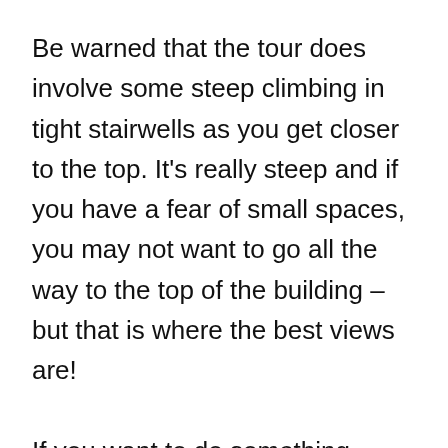Be warned that the tour does involve some steep climbing in tight stairwells as you get closer to the top. It's really steep and if you have a fear of small spaces, you may not want to go all the way to the top of the building – but that is where the best views are!

If you want to do something really special, Palacio Barolo runs evening and night tours with a tango show, wine tasting and classical music. These tours cost between ARS$1600 and $1850 per person. Book your